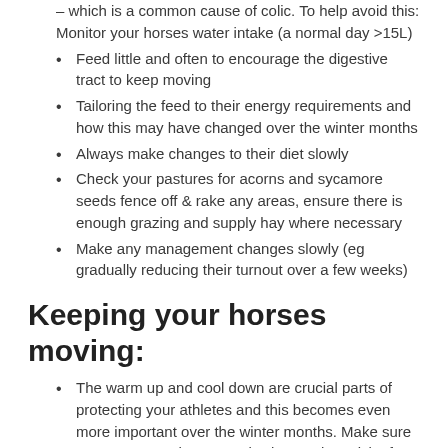– which is a common cause of colic. To help avoid this: Monitor your horses water intake (a normal day >15L)
Feed little and often to encourage the digestive tract to keep moving
Tailoring the feed to their energy requirements and how this may have changed over the winter months
Always make changes to their diet slowly
Check your pastures for acorns and sycamore seeds fence off & rake any areas, ensure there is enough grazing and supply hay where necessary
Make any management changes slowly (eg gradually reducing their turnout over a few weeks)
Keeping your horses moving:
The warm up and cool down are crucial parts of protecting your athletes and this becomes even more important over the winter months. Make sure you warm your horse up slowly to reduce risk of injury and let their body temperature slowly return to normal after